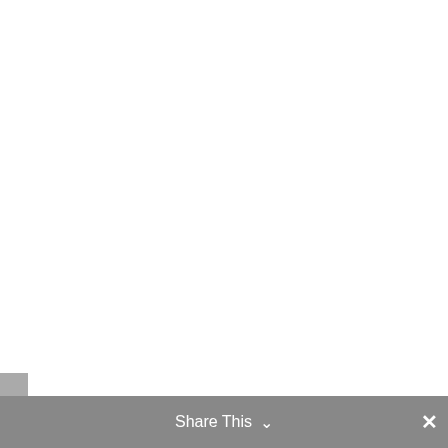calendar of their art events, and A
Share This ∨  ×